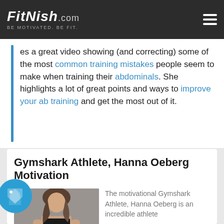FitNish.com — Be Motivated. Be Fit.
...es a great video showing (and correcting) some of the most common training mistakes people seem to make when training their abdominals. She highlights a lot of great points and ways to improve your ab training and get the most out of it.
Gymshark Athlete, Hanna Oeberg Motivation
[Figure (photo): Photo of Hanna Oeberg, a fitness athlete wearing a black sports bra, showing athletic physique]
The motivational Gymshark Athlete, Hanna Oeberg is an incredible athlete